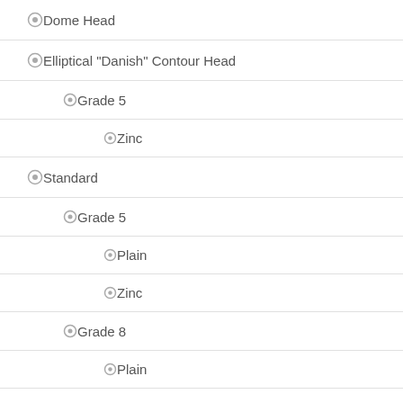Dome Head
Elliptical "Danish" Contour Head
Grade 5
Zinc
Standard
Grade 5
Plain
Zinc
Grade 8
Plain